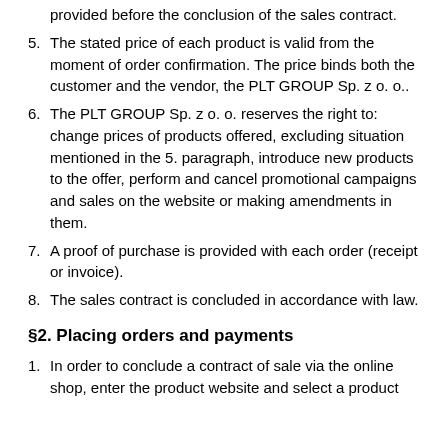provided before the conclusion of the sales contract.
5. The stated price of each product is valid from the moment of order confirmation. The price binds both the customer and the vendor, the PLT GROUP Sp. z o. o..
6. The PLT GROUP Sp. z o. o. reserves the right to: change prices of products offered, excluding situation mentioned in the 5. paragraph, introduce new products to the offer, perform and cancel promotional campaigns and sales on the website or making amendments in them.
7. A proof of purchase is provided with each order (receipt or invoice).
8. The sales contract is concluded in accordance with law.
§2. Placing orders and payments
1. In order to conclude a contract of sale via the online shop, enter the product website and select a product